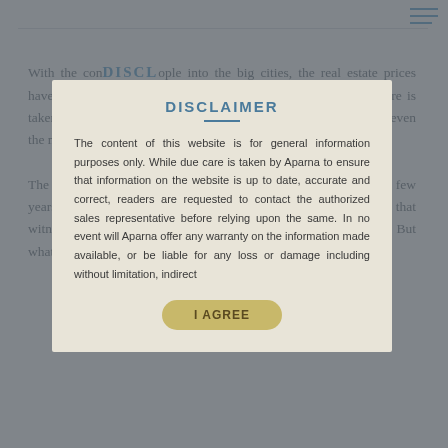With the continued migration of people into the big cities, the real estate prices have soared rapidly in the last decade. In metros like enough owners taken by Aparna to ensure that shell out a premium rate to afford even the most basic amenities. The Hyderabad market has seen immense growth over the past few years. It has been the fastest growing market in the country that witnessed steady rise while the rest of the nation hit stagnation. But what does this mean for the buyers? Are
DISCLAIMER
The content of this website is for general information purposes only. While due care is taken by Aparna to ensure that information on the website is up to date, accurate and correct, readers are requested to contact the authorized sales representative before relying upon the same. In no event will Aparna offer any warranty on the information made available, or be liable for any loss or damage including without limitation, indirect
I AGREE